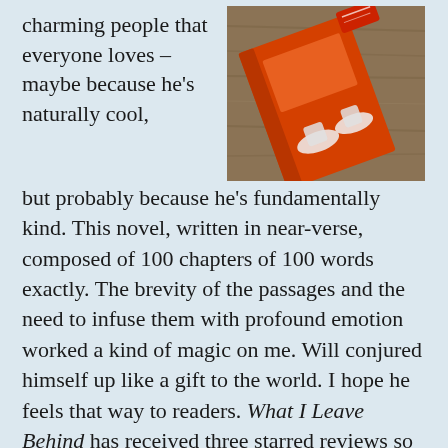charming people that everyone loves – maybe because he's naturally cool, but probably because he's fundamentally kind. This novel, written in near-verse, composed of 100 chapters of 100 words exactly. The brevity of the passages and the need to infuse them with profound emotion worked a kind of magic on me. Will conjured himself up like a gift to the world. I hope he feels that way to readers. What I Leave Behind has received three starred reviews so far.
[Figure (photo): An orange book or notebook lying on a wooden surface, photographed from above.]
To order a copy